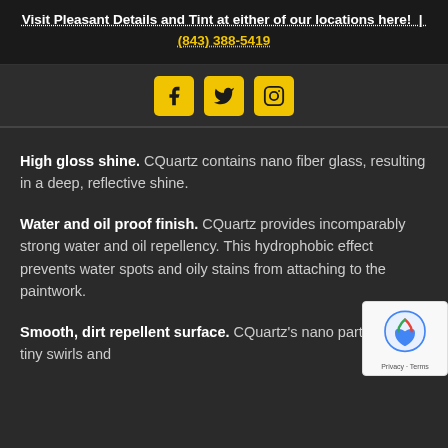Visit Pleasant Details and Tint at either of our locations here! | (843) 388-5419
[Figure (other): Social media icons: Facebook, Twitter, Instagram — yellow square icons on dark background]
High gloss shine. CQuartz contains nano fiber glass, resulting in a deep, reflective shine.
Water and oil proof finish. CQuartz provides incomparably strong water and oil repellency. This hydrophobic effect prevents water spots and oily stains from attaching to the paintwork.
Smooth, dirt repellent surface. CQuartz's nano particles fill in tiny swirls and